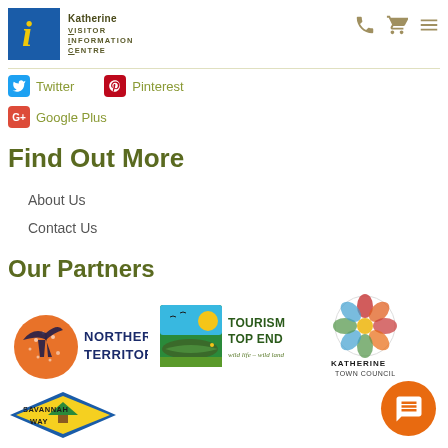[Figure (logo): Katherine Visitor Information Centre logo — blue square with yellow italic i, text beside it]
[Figure (infographic): Navigation icons: phone, cart, hamburger menu]
Twitter
Pinterest
Google Plus
Find Out More
About Us
Contact Us
Our Partners
[Figure (logo): Northern Territory logo — stylised bird over orange circle with dotted pattern, text NORTHERN TERRITORY]
[Figure (logo): Tourism Top End logo — crocodile with sun, text TOURISM TOP END wild life – wild land]
[Figure (logo): Katherine Town Council logo — circular floral/nature design]
[Figure (logo): Savannah Way logo — diamond shape with blue and yellow, text SAVANNAH WAY]
[Figure (illustration): Orange chat/message button at bottom right]